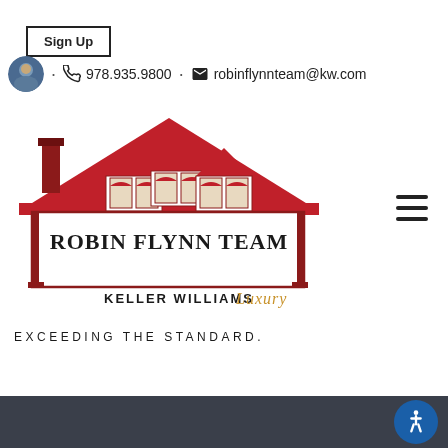Sign Up
· 978.935.9800 · robinflynnteam@kw.com
[Figure (logo): Robin Flynn Team Keller Williams Luxury real estate logo with red house/roofline graphic and text]
EXCEEDING THE STANDARD.